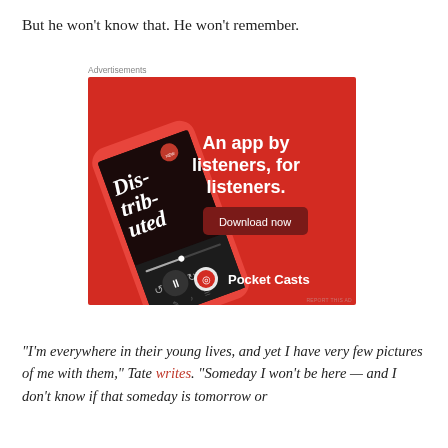But he won't know that. He won't remember.
[Figure (screenshot): Pocket Casts advertisement banner with red background showing a smartphone displaying the 'Distributed' podcast. Text reads 'An app by listeners, for listeners.' with a 'Download now' button and Pocket Casts logo at the bottom.]
Advertisements
“I’m everywhere in their young lives, and yet I have very few pictures of me with them,” Tate writes. “Someday I won’t be here — and I don’t know if that someday is tomorrow or